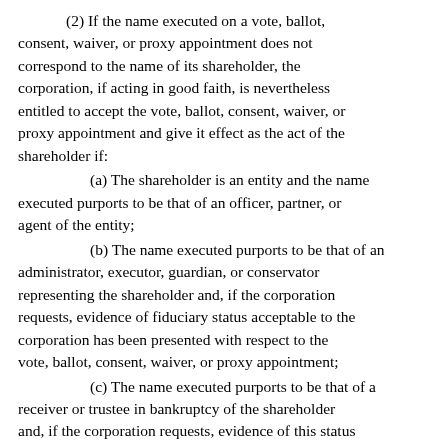(2) If the name executed on a vote, ballot, consent, waiver, or proxy appointment does not correspond to the name of its shareholder, the corporation, if acting in good faith, is nevertheless entitled to accept the vote, ballot, consent, waiver, or proxy appointment and give it effect as the act of the shareholder if:
(a) The shareholder is an entity and the name executed purports to be that of an officer, partner, or agent of the entity;
(b) The name executed purports to be that of an administrator, executor, guardian, or conservator representing the shareholder and, if the corporation requests, evidence of fiduciary status acceptable to the corporation has been presented with respect to the vote, ballot, consent, waiver, or proxy appointment;
(c) The name executed purports to be that of a receiver or trustee in bankruptcy of the shareholder and, if the corporation requests, evidence of this status acceptable to the corporation has been presented with respect to the vote, consent, waiver, or proxy appointment;